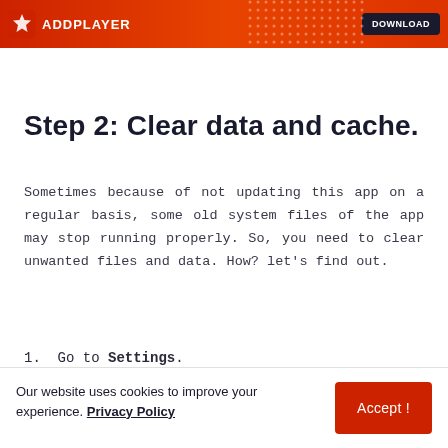[Figure (screenshot): Orange/red banner header with logo star icon and app name on left, dark button on right, with dotted pattern background]
Step 2: Clear data and cache.
Sometimes because of not updating this app on a regular basis, some old system files of the app may stop running properly. So, you need to clear unwanted files and data. How? let's find out.
1. Go to Settings.
Our website uses cookies to improve your experience. Privacy Policy